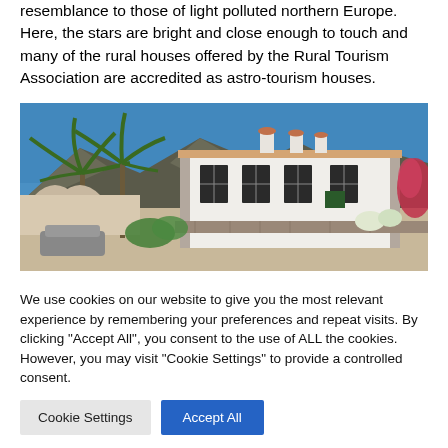resemblance to those of light polluted northern Europe. Here, the stars are bright and close enough to touch and many of the rural houses offered by the Rural Tourism Association are accredited as astro-tourism houses.
[Figure (photo): A traditional white Canarian rural house with stone quoins, green shuttered windows, and terracotta chimney pots. Palm trees and flowering red bougainvillea frame the building, with mountains in the background under a clear blue sky.]
We use cookies on our website to give you the most relevant experience by remembering your preferences and repeat visits. By clicking "Accept All", you consent to the use of ALL the cookies. However, you may visit "Cookie Settings" to provide a controlled consent.